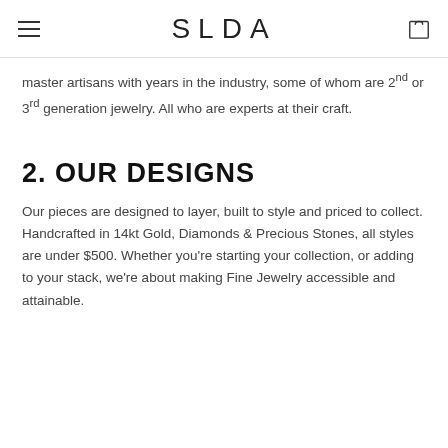SLDA
master artisans with years in the industry, some of whom are 2nd or 3rd generation jewelry. All who are experts at their craft.
2. OUR DESIGNS
Our pieces are designed to layer, built to style and priced to collect. Handcrafted in 14kt Gold, Diamonds & Precious Stones, all styles are under $500. Whether you're starting your collection, or adding to your stack, we're about making Fine Jewelry accessible and attainable.